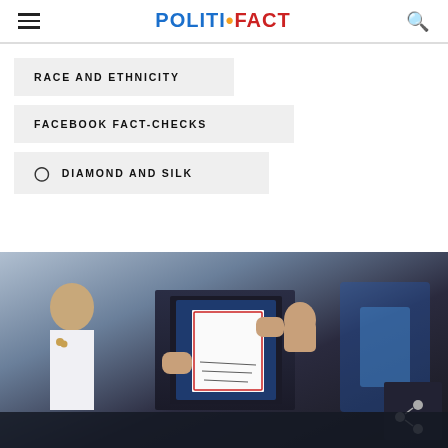POLITIFACT
RACE AND ETHNICITY
FACEBOOK FACT-CHECKS
DIAMOND AND SILK
[Figure (photo): President Biden holding up a signed document/bill surrounded by officials including Kamala Harris and others in a ceremony setting]